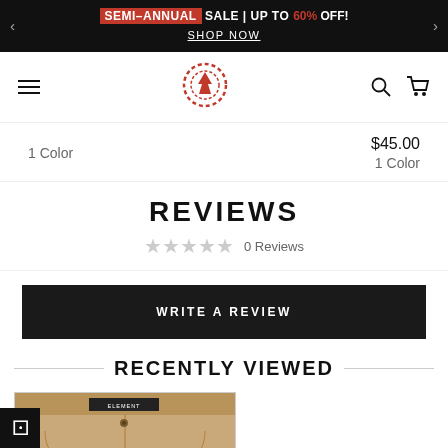SEMI-ANNUAL SALE | UP TO 60% OFF! SHOP NOW
[Figure (logo): Element skate brand logo - red circular tree icon]
1 Color
$45.00
1 Color
REVIEWS
0 Reviews
WRITE A REVIEW
RECENTLY VIEWED
[Figure (photo): Khaki/beige shorts product photo with Element brand label visible]